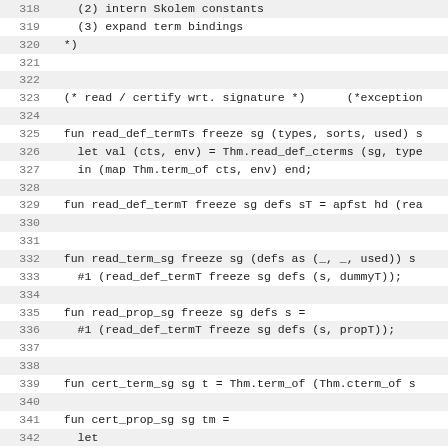Source code listing, lines 318-349, showing ML/SML code for read/certify functions with intern Skolem constants, expand term bindings, read_def_termTs, read_def_termT, read_term_sg, read_prop_sg, cert_term_sg, cert_prop_sg